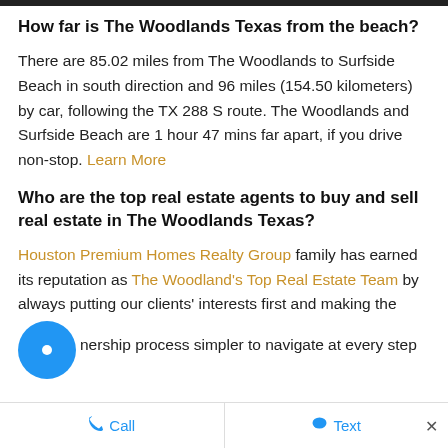How far is The Woodlands Texas from the beach?
There are 85.02 miles from The Woodlands to Surfside Beach in south direction and 96 miles (154.50 kilometers) by car, following the TX 288 S route. The Woodlands and Surfside Beach are 1 hour 47 mins far apart, if you drive non-stop. Learn More
Who are the top real estate agents to buy and sell real estate in The Woodlands Texas?
Houston Premium Homes Realty Group family has earned its reputation as The Woodland's Top Real Estate Team by always putting our clients' interests first and making the ownership process simpler to navigate at every step
Call   Text   ×